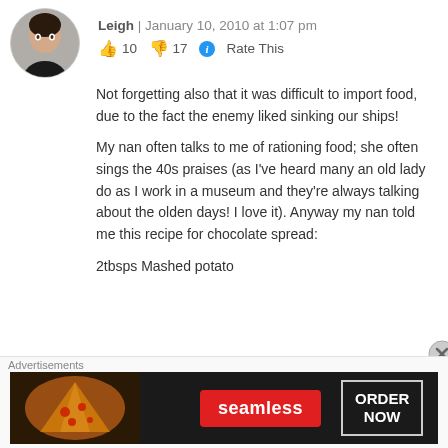Leigh | January 10, 2010 at 1:07 pm
👍 10 👎 17 ℹ Rate This
Not forgetting also that it was difficult to import food, due to the fact the enemy liked sinking our ships!
My nan often talks to me of rationing food; she often sings the 40s praises (as I've heard many an old lady do as I work in a museum and they're always talking about the olden days! I love it). Anyway my nan told me this recipe for chocolate spread:
2tbsps Mashed potato
Advertisements